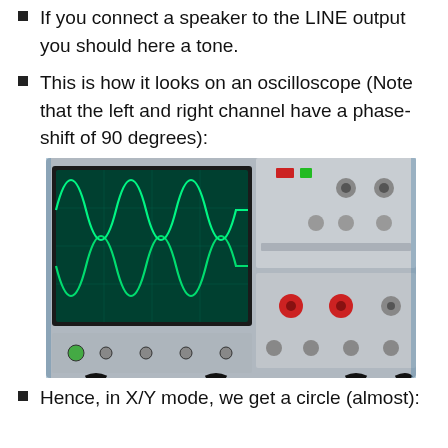If you connect a speaker to the LINE output you should here a tone.
This is how it looks on an oscilloscope (Note that the left and right channel have a phase-shift of 90 degrees):
[Figure (photo): Photo of an oscilloscope displaying two sinusoidal waveforms (left and right channel) with a 90-degree phase shift, shown on the green CRT screen. The oscilloscope is a dual-channel analog device with various knobs and controls visible on the right panel.]
Hence, in X/Y mode, we get a circle (almost):